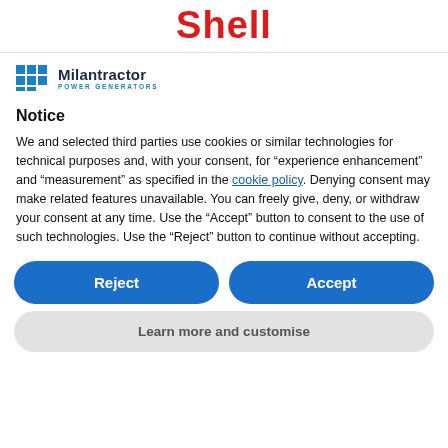Shell
[Figure (logo): Milantractor Power Generators logo with blue grid icon and text]
Notice
We and selected third parties use cookies or similar technologies for technical purposes and, with your consent, for “experience enhancement” and “measurement” as specified in the cookie policy. Denying consent may make related features unavailable. You can freely give, deny, or withdraw your consent at any time. Use the “Accept” button to consent to the use of such technologies. Use the “Reject” button to continue without accepting.
Reject
Accept
Learn more and customise